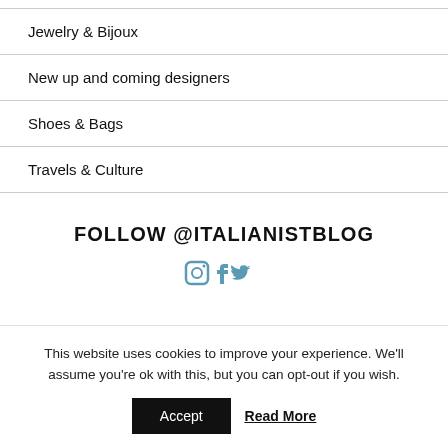Jewelry & Bijoux
New up and coming designers
Shoes & Bags
Travels & Culture
FOLLOW @ITALIANISTBLOG
[Figure (illustration): Social media icons (Instagram, Facebook, Twitter/Pinterest) partially visible]
This website uses cookies to improve your experience. We'll assume you're ok with this, but you can opt-out if you wish.
Accept   Read More